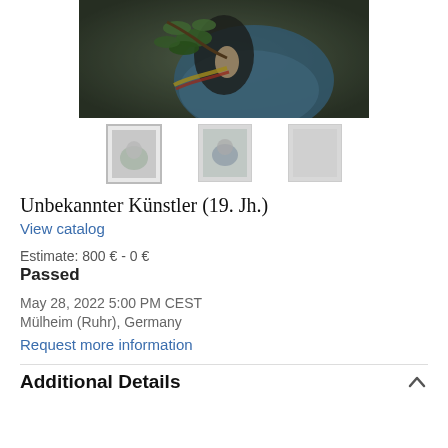[Figure (photo): Painting of a figure in blue dress holding a green leafy branch with yellow/red ribbon, dark background, 19th century style portrait detail]
[Figure (photo): Three thumbnail images of the painting for navigation: first thumbnail selected with border, second and third smaller thumbnails]
Unbekannter Künstler (19. Jh.)
View catalog
Estimate: 800 € - 0 €
Passed
May 28, 2022 5:00 PM CEST
Mülheim (Ruhr), Germany
Request more information
Additional Details